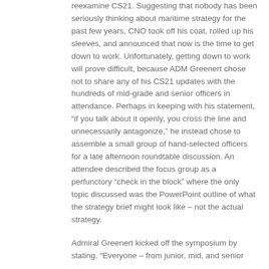reexamine CS21. Suggesting that nobody has been seriously thinking about maritime strategy for the past few years, CNO took off his coat, rolled up his sleeves, and announced that now is the time to get down to work. Unfortunately, getting down to work will prove difficult, because ADM Greenert chose not to share any of his CS21 updates with the hundreds of mid-grade and senior officers in attendance. Perhaps in keeping with his statement, “if you talk about it openly, you cross the line and unnecessarily antagonize,” he instead chose to assemble a small group of hand-selected officers for a late afternoon roundtable discussion. An attendee described the focus group as a perfunctory “check in the block” where the only topic discussed was the PowerPoint outline of what the strategy brief might look like – not the actual strategy.
Admiral Greenert kicked off the symposium by stating, “Everyone – from junior, mid, and senior